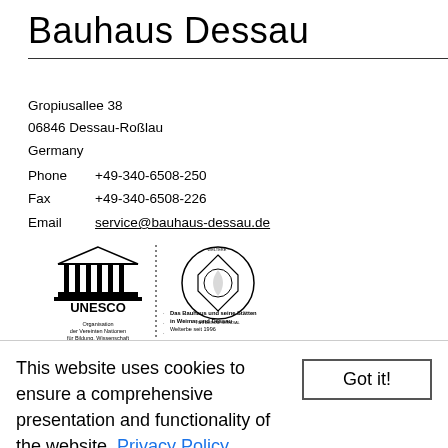Bauhaus Dessau
Gropiusallee 38
06846 Dessau-Roßlau
Germany
Phone  +49-340-6508-250
Fax    +49-340-6508-226
Email  service@bauhaus-dessau.de
[Figure (logo): UNESCO logo and World Heritage Site logo with German text: Organisation der Vereinten Nationen für Bildung, Wissenschaft und Kultur | Das Bauhaus und seine Stätten in Weimar und Dessau · Welterbe seit 1996]
Institutional funders
[Figure (logo): Die Beauftragte der Bundesregierung für Kultur und Medien logo with eagle emblem; partial other logos visible]
This website uses cookies to ensure a comprehensive presentation and functionality of the website. Privacy Policy
Got it!